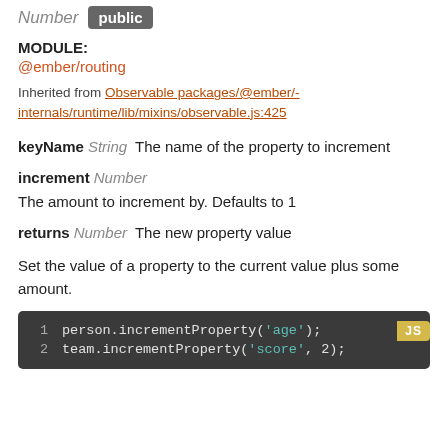Number public
MODULE:
@ember/routing
Inherited from Observable packages/@ember/-internals/runtime/lib/mixins/observable.js:425
keyName String  The name of the property to increment
increment Number
The amount to increment by. Defaults to 1
returns Number  The new property value
Set the value of a property to the current value plus some amount.
[Figure (screenshot): Code block showing two lines of JS: person.incrementProperty('age'); and team.incrementProperty('score', 2); with a JS badge in the top right corner.]